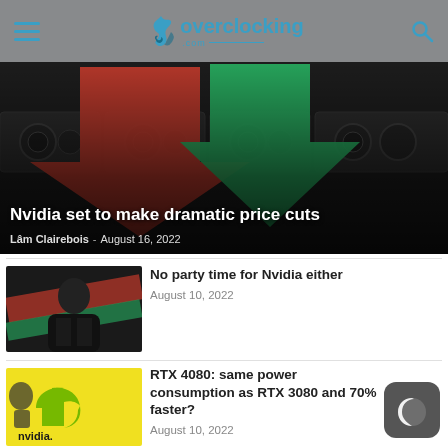Overclocking.com
[Figure (photo): Hero image showing GPU graphics cards with a large red arrow pointing down and a green arrow pointing right, dark background]
Nvidia set to make dramatic price cuts
Lâm Clairebois - August 16, 2022
[Figure (photo): Thumbnail showing person in black jacket with red and green motion blur background]
No party time for Nvidia either
August 10, 2022
[Figure (photo): Thumbnail showing Nvidia logo on yellow background with a face silhouette]
RTX 4080: same power consumption as RTX 3080 and 70% faster?
August 10, 2022